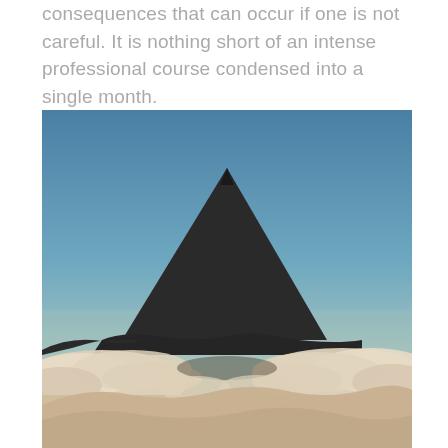consequences that can occur if one is not careful. It is nothing short of an intense professional course condensed into a single month.
[Figure (photo): A volcanic mountain peak rising above a thick layer of clouds, photographed at dusk or dawn with a blue-grey sky gradient in the background.]